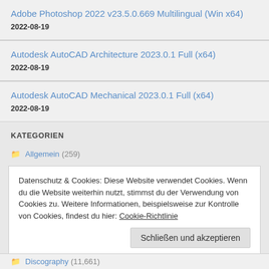Adobe Photoshop 2022 v23.5.0.669 Multilingual (Win x64)
2022-08-19
Autodesk AutoCAD Architecture 2023.0.1 Full (x64)
2022-08-19
Autodesk AutoCAD Mechanical 2023.0.1 Full (x64)
2022-08-19
KATEGORIEN
Allgemein (259)
Datenschutz & Cookies: Diese Website verwendet Cookies. Wenn du die Website weiterhin nutzt, stimmst du der Verwendung von Cookies zu. Weitere Informationen, beispielsweise zur Kontrolle von Cookies, findest du hier: Cookie-Richtlinie
Discography (11,661)